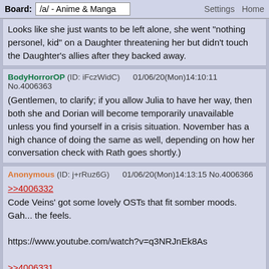Board: /a/ - Anime & Manga | Settings Home
Looks like she just wants to be left alone, she went "nothing personel, kid" on a Daughter threatening her but didn't touch the Daughter's allies after they backed away.
BodyHorrorOP (ID: iFczWidC)   01/06/20(Mon)14:10:11 No.4006363

(Gentlemen, to clarify; if you allow Julia to have her way, then both she and Dorian will become temporarily unavailable unless you find yourself in a crisis situation. November has a high chance of doing the same as well, depending on how her conversation check with Rath goes shortly.)
Anonymous (ID: j+rRuz6G)   01/06/20(Mon)14:13:15 No.4006366

>>4006332
Code Veins' got some lovely OSTs that fit somber moods. Gah... the feels.

https://www.youtube.com/watch?v=q3NRJnEk8As

>>4006331
>Acquiesce to Julia's request, and allow her to take Dorian and anyone else who wishes to stay behind and help while you meet Ivey when she arrives.
>Transition into other pressing details on your mind: Ozma's offer of information on her end.